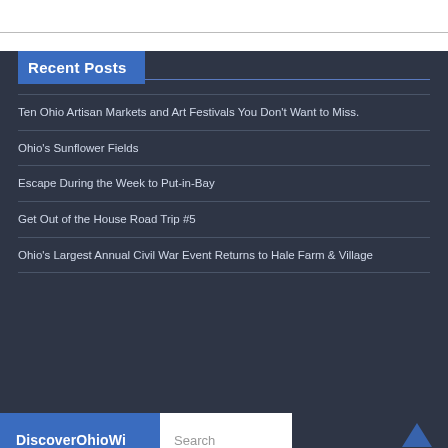Recent Posts
Ten Ohio Artisan Markets and Art Festivals You Don't Want to Miss.
Ohio's Sunflower Fields
Escape During the Week to Put-in-Bay
Get Out of the House Road Trip #5
Ohio's Largest Annual Civil War Event Returns to Hale Farm & Village
DiscoverOhioWi...
Search